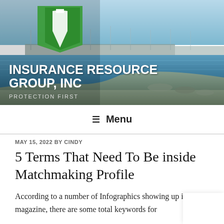[Figure (photo): Header banner with marina/harbor background photo showing boats, water, and rocky shoreline. Green triangular logo with white downward arrow at top left. Company name 'INSURANCE RESOURCE GROUP, INC' in white bold uppercase text. Tagline 'PROTECTION FIRST' below.]
INSURANCE RESOURCE GROUP, INC
PROTECTION FIRST
≡ Menu
MAY 15, 2022 BY CINDY
5 Terms That Need To Be inside Matchmaking Profile
According to a number of Infographics showing up in Wired magazine, there are some total keywords for